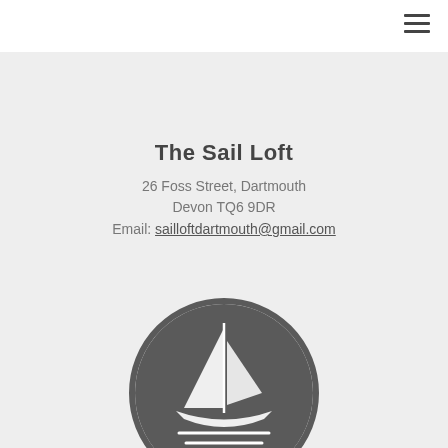The Sail Loft
26 Foss Street, Dartmouth
Devon TQ6 9DR
Email: sailloftdartmouth@gmail.com
[Figure (logo): Circular logo with dark grey background showing a sailing boat illustration in white, with horizontal lines at the bottom representing water or rope]